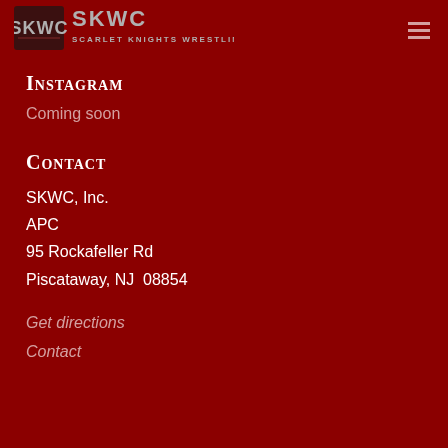[Figure (logo): SKWC Scarlet Knights Wrestling Club logo with shield and text]
Instagram
Coming soon
Contact
SKWC, Inc.
APC
95 Rockafeller Rd
Piscataway, NJ  08854
Get directions
Contact